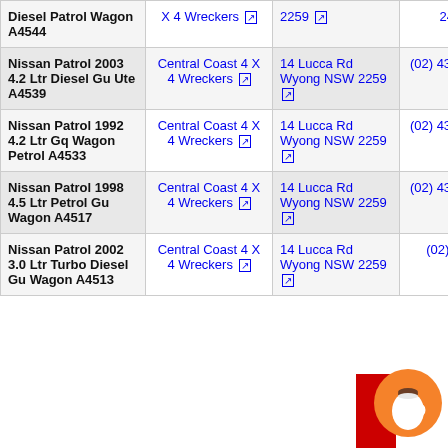| Vehicle | Wrecker | Address | Phone |
| --- | --- | --- | --- |
| Diesel Patrol Wagon A4544 | Central Coast 4 X 4 Wreckers | 14 Lucca Rd Wyong NSW 2259 | 2443 |
| Nissan Patrol 2003 4.2 Ltr Diesel Gu Ute A4539 | Central Coast 4 X 4 Wreckers | 14 Lucca Rd Wyong NSW 2259 | (02) 4352 2443 |
| Nissan Patrol 1992 4.2 Ltr Gq Wagon Petrol A4533 | Central Coast 4 X 4 Wreckers | 14 Lucca Rd Wyong NSW 2259 | (02) 4352 2443 |
| Nissan Patrol 1998 4.5 Ltr Petrol Gu Wagon A4517 | Central Coast 4 X 4 Wreckers | 14 Lucca Rd Wyong NSW 2259 | (02) 4352 2443 |
| Nissan Patrol 2002 3.0 Ltr Turbo Diesel Gu Wagon A4513 | Central Coast 4 X 4 Wreckers | 14 Lucca Rd Wyong NSW 2259 | (02) 4352 2443 |